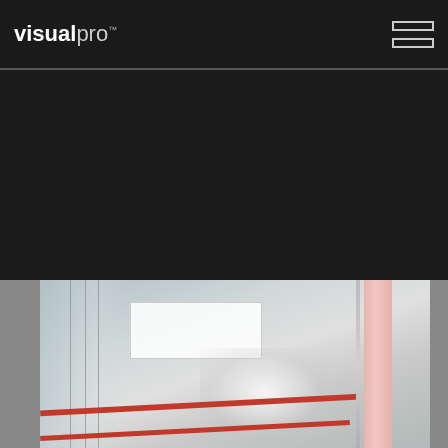[Figure (logo): visualpro logo in white text on dark background, with trademark symbol]
[Figure (other): Hamburger menu icon — two horizontal rectangular outlines stacked vertically in top-right corner]
[Figure (photo): Interior architectural rendering showing a modern space with glass panels, red handrail, ceiling light panels, and a salmon/pink structural column on the right side. A 'BACK TO TOP' circular badge appears on the right edge.]